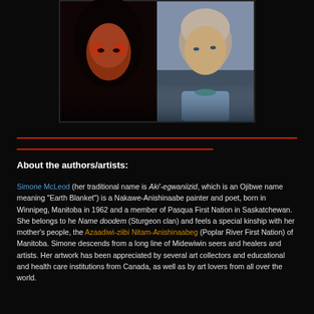[Figure (photo): Two portrait photos side by side: left shows a woman with face paint in dark tones, right shows an older man with grey hair pulled back, outdoors with water in background]
About the authors/artists:
Simone McLeod (her traditional name is Aki'-egwaniizid, which is an Ojibwe name meaning "Earth Blanket") is a Nakawe-Anishinaabe painter and poet, born in Winnipeg, Manitoba in 1962 and a member of Pasqua First Nation in Saskatchewan. She belongs to he Name doodem (Sturgeon clan) and feels a special kinship with her mother's people, the Azaadiwi-ziibi Nitam-Anishinaabeg (Poplar River First Nation) of Manitoba. Simone descends from a long line of Midewiwin seers and healers and artists. Her artwork has been appreciated by several art collectors and educational and health care institutions from Canada, as well as by art lovers from all over the world.